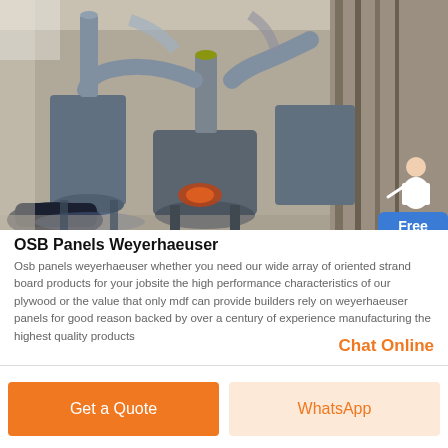[Figure (photo): Industrial grinding mill machinery in a factory setting with large pipes, cyclone separators, and milling equipment on a concrete floor]
OSB Panels Weyerhaeuser
Osb panels weyerhaeuser whether you need our wide array of oriented strand board products for your jobsite the high performance characteristics of our plywood or the value that only mdf can provide builders rely on weyerhaeuser panels for good reason backed by over a century of experience manufacturing the highest quality products
Chat Online
Get a Quote
WhatsApp